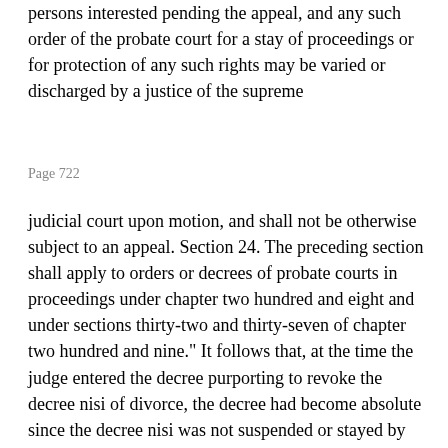persons interested pending the appeal, and any such order of the probate court for a stay of proceedings or for protection of any such rights may be varied or discharged by a justice of the supreme
Page 722
judicial court upon motion, and shall not be otherwise subject to an appeal. Section 24. The preceding section shall apply to orders or decrees of probate courts in proceedings under chapter two hundred and eight and under sections thirty-two and thirty-seven of chapter two hundred and nine." It follows that, at the time the judge entered the decree purporting to revoke the decree nisi of divorce, the decree had become absolute since the decree nisi was not suspended or stayed by either the Probate Court or a justice of this court but continuing in full force and effect. The judge therefore